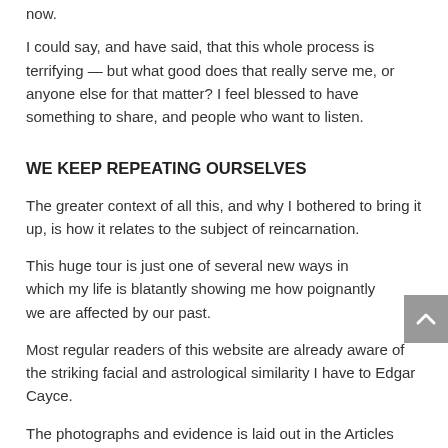now.
I could say, and have said, that this whole process is terrifying — but what good does that really serve me, or anyone else for that matter? I feel blessed to have something to share, and people who want to listen.
WE KEEP REPEATING OURSELVES
The greater context of all this, and why I bothered to bring it up, is how it relates to the subject of reincarnation.
This huge tour is just one of several new ways in which my life is blatantly showing me how poignantly we are affected by our past.
Most regular readers of this website are already aware of the striking facial and astrological similarity I have to Edgar Cayce.
The photographs and evidence is laid out in the Articles section of this website, divinecosmos.com, and in the 2012...